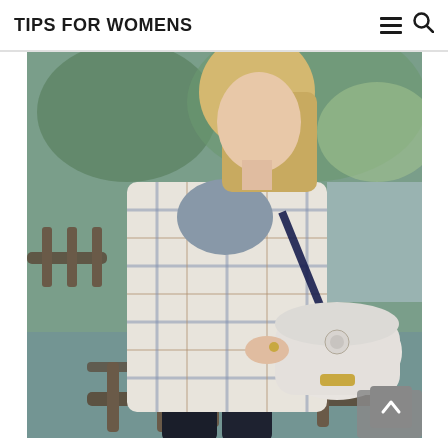TIPS FOR WOMENS
[Figure (photo): A blonde woman wearing a long plaid coat over a grey top and dark jeans, carrying a white leather crossbody saddle bag, leaning against metal railings outdoors near water.]